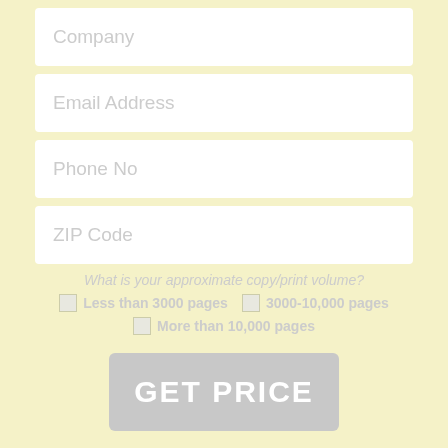Company
Email Address
Phone No
ZIP Code
What is your approximate copy/print volume?
Less than 3000 pages
3000-10,000 pages
More than 10,000 pages
GET PRICE